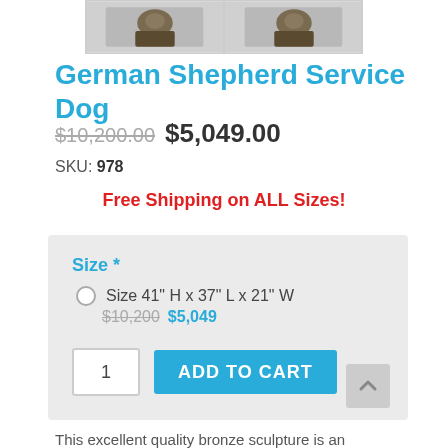[Figure (photo): Two product thumbnail images of German Shepherd Service Dog bronze sculpture]
German Shepherd Service Dog
$10,200.00 $5,049.00
SKU: 978
Free Shipping on ALL Sizes!
Size * Size 41" H x 37" L x 21" W $10,200 $5,049
ADD TO CART
This excellent quality bronze sculpture is an